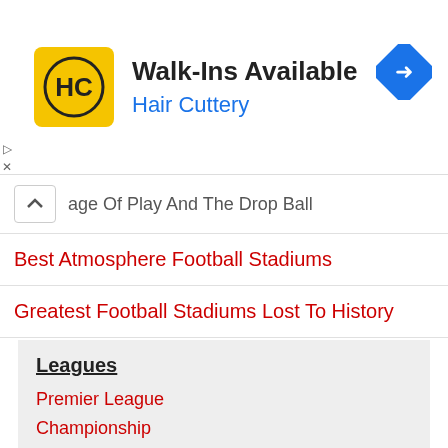[Figure (logo): Hair Cuttery advertisement banner with HC logo, Walk-Ins Available text, and navigation arrow icon]
age Of Play And The Drop Ball
Best Atmosphere Football Stadiums
Greatest Football Stadiums Lost To History
Leagues
Premier League
Championship
Scottish Premiership
La Liga
Serie A
More Leagues